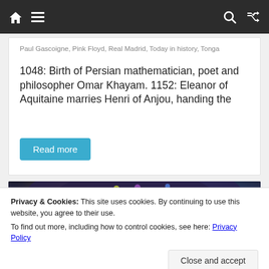Navigation bar with home, menu, search, and shuffle icons
Paul Gascoigne, Pink Floyd, Real Madrid, Today in history, Tonga
1048: Birth of Persian mathematician, poet and philosopher Omar Khayam. 1152: Eleanor of Aquitaine marries Henri of Anjou, handing the
Read more
[Figure (photo): Person wearing a colorful patterned headscarf, close-up photograph]
Privacy & Cookies: This site uses cookies. By continuing to use this website, you agree to their use.
To find out more, including how to control cookies, see here: Privacy Policy
Close and accept